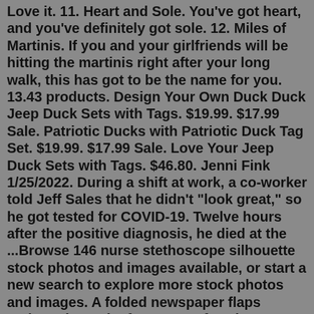Love it. 11. Heart and Sole. You've got heart, and you've definitely got sole. 12. Miles of Martinis. If you and your girlfriends will be hitting the martinis right after your long walk, this has got to be the name for you. 13.43 products. Design Your Own Duck Duck Jeep Duck Sets with Tags. $19.99. $17.99 Sale. Patriotic Ducks with Patriotic Duck Tag Set. $19.99. $17.99 Sale. Love Your Jeep Duck Sets with Tags. $46.80. Jenni Fink 1/25/2022. During a shift at work, a co-worker told Jeff Sales that he didn't "look great," so he got tested for COVID-19. Twelve hours after the positive diagnosis, he died at the ...Browse 146 nurse stethoscope silhouette stock photos and images available, or start a new search to explore more stock photos and images. A folded newspaper flaps ominously on the front seat of Springsteen's 1980 Jeep CJ-5 as he begins a spiel in the introspective cadence honed during his recent Broadway-to-Netflix thing: "There ...About Community. Welcome to r/SpaceX, the premier SpaceX discussion community and the largest fan-run